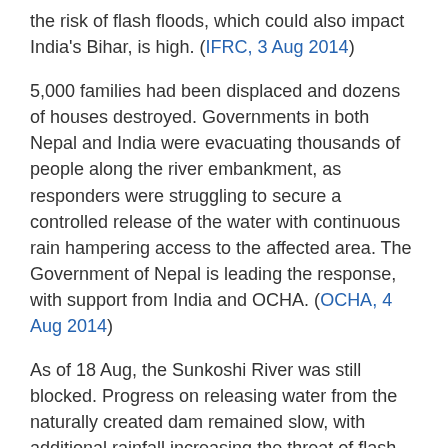the risk of flash floods, which could also impact India's Bihar, is high. (IFRC, 3 Aug 2014)
5,000 families had been displaced and dozens of houses destroyed. Governments in both Nepal and India were evacuating thousands of people along the river embankment, as responders were struggling to secure a controlled release of the water with continuous rain hampering access to the affected area. The Government of Nepal is leading the response, with support from India and OCHA. (OCHA, 4 Aug 2014)
As of 18 Aug, the Sunkoshi River was still blocked. Progress on releasing water from the naturally created dam remained slow, with additional rainfall increasing the threat of flash floods further downstream. The number of deaths has increased to 156, with 476 people still displaced and early recovery solutions are urgently needed. (OCHA, 18 Aug 2014).